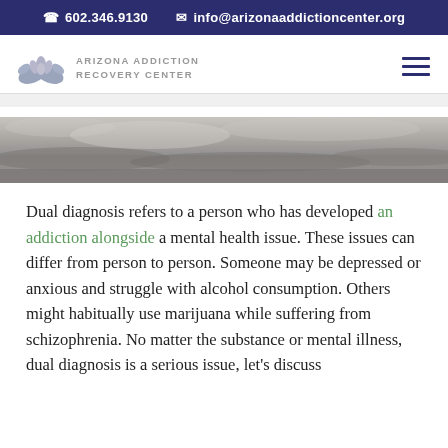☎ 602.346.9130   ✉ info@arizonaaddictioncenter.org
[Figure (logo): Arizona Addiction Recovery Center logo with lotus flower and hands icon]
[Figure (photo): Black and white banner image of a cloudy or misty landscape]
Dual diagnosis refers to a person who has developed an addiction alongside a mental health issue. These issues can differ from person to person. Someone may be depressed or anxious and struggle with alcohol consumption. Others might habitually use marijuana while suffering from schizophrenia. No matter the substance or mental illness, dual diagnosis is a serious issue, let's discuss